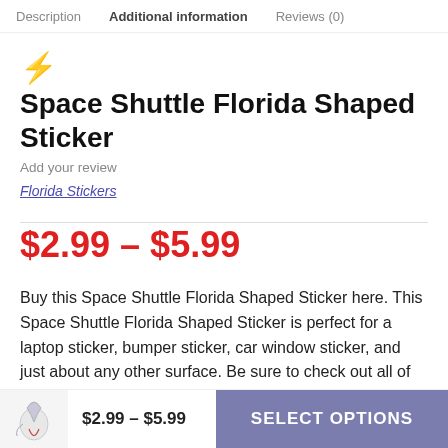Description  Additional information  Reviews (0)
⚡ Space Shuttle Florida Shaped Sticker
Add your review
Florida Stickers
$2.99 – $5.99
Buy this Space Shuttle Florida Shaped Sticker here. This Space Shuttle Florida Shaped Sticker is perfect for a laptop sticker, bumper sticker, car window sticker, and just about any other surface. Be sure to check out all of our custom stickers to find more great designs.
$2.99 – $5.99  SELECT OPTIONS